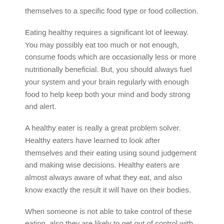themselves to a specific food type or food collection.
Eating healthy requires a significant lot of leeway. You may possibly eat too much or not enough, consume foods which are occasionally less or more nutritionally beneficial. But, you should always fuel your system and your brain regularly with enough food to help keep both your mind and body strong and alert.
A healthy eater is really a great problem solver. Healthy eaters have learned to look after themselves and their eating using sound judgement and making wise decisions. Healthy eaters are almost always aware of what they eat, and also know exactly the result it will have on their bodies.
When someone is not able to take control of these eating, also they are likely to get out of control with other aspects of life also. They might wind up spending a lot, talking too much, even going to bed later and after.